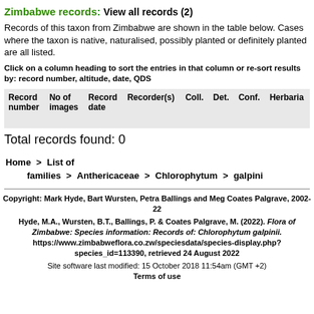Zimbabwe records: View all records (2)
Records of this taxon from Zimbabwe are shown in the table below. Cases where the taxon is native, naturalised, possibly planted or definitely planted are all listed.
Click on a column heading to sort the entries in that column or re-sort results by: record number, altitude, date, QDS
| Record number | No of images | Record date | Recorder(s) | Coll. | Det. | Conf. | Herbaria |
| --- | --- | --- | --- | --- | --- | --- | --- |
Total records found: 0
Home > List of families > Anthericaceae > Chlorophytum > galpini
Copyright: Mark Hyde, Bart Wursten, Petra Ballings and Meg Coates Palgrave, 2002-22
Hyde, M.A., Wursten, B.T., Ballings, P. & Coates Palgrave, M. (2022). Flora of Zimbabwe: Species information: Records of: Chlorophytum galpinii. https://www.zimbabweflora.co.zw/speciesdata/species-display.php?species_id=113390, retrieved 24 August 2022
Site software last modified: 15 October 2018 11:54am (GMT +2)
Terms of use